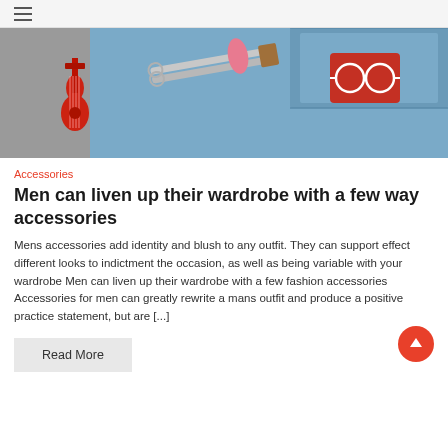≡
[Figure (photo): Denim jacket with patches including a red electric guitar and red sunglasses patch, alongside scissors and a pink spool of thread on a gray surface.]
Accessories
Men can liven up their wardrobe with a few way accessories
Mens accessories add identity and blush to any outfit. They can support effect different looks to indictment the occasion, as well as being variable with your wardrobe Men can liven up their wardrobe with a few fashion accessories Accessories for men can greatly rewrite a mans outfit and produce a positive practice statement, but are [...]
Read More